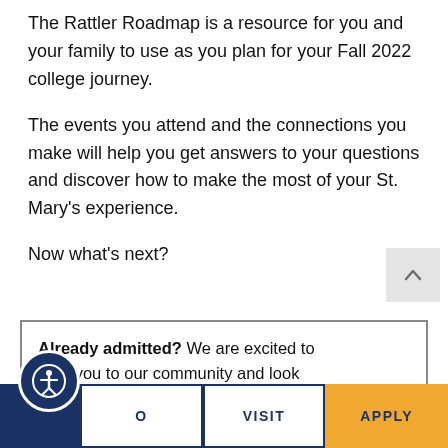The Rattler Roadmap is a resource for you and your family to use as you plan for your Fall 2022 college journey.
The events you attend and the connections you make will help you get answers to your questions and discover how to make the most of your St. Mary's experience.
Now what's next?
Already admitted? We are excited to come you to our community and look
INFO   VISIT   APPLY